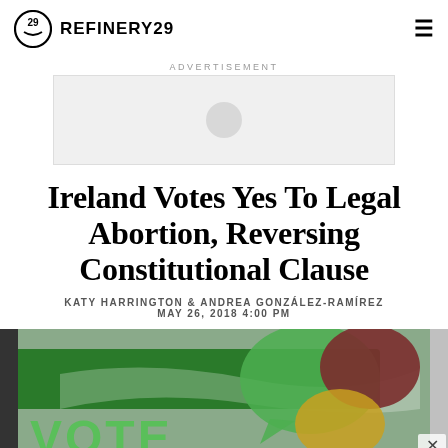REFINERY29
ADVERTISEMENT
[Figure (other): Advertisement placeholder box with grey circular icon]
Ireland Votes Yes To Legal Abortion, Reversing Constitutional Clause
KATY HARRINGTON & ANDREA GONZÁLEZ-RAMÍREZ
MAY 26, 2018 4:00 PM
[Figure (photo): Photo of a colorful mural or sign with speech bubbles in green, yellow, dark red/maroon, and olive colors. The word 'VOTE' is visible in large green letters at the bottom of the image.]